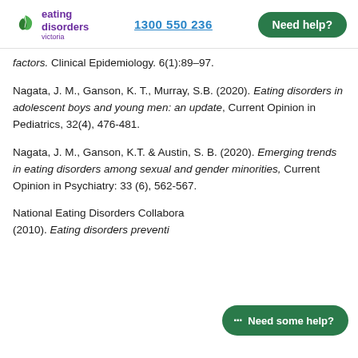eating disorders victoria | 1300 550 236 | Need help?
factors. Clinical Epidemiology. 6(1):89–97.
Nagata, J. M., Ganson, K. T., Murray, S.B. (2020). Eating disorders in adolescent boys and young men: an update, Current Opinion in Pediatrics, 32(4), 476-481.
Nagata, J. M., Ganson, K.T. & Austin, S. B. (2020). Emerging trends in eating disorders among sexual and gender minorities, Current Opinion in Psychiatry: 33 (6), 562-567.
National Eating Disorders Collaboration (NEDC). (2010). Eating disorders prevention